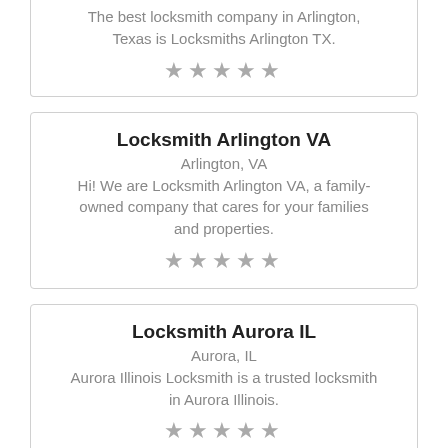The best locksmith company in Arlington, Texas is Locksmiths Arlington TX.
★★★★★
Locksmith Arlington VA
Arlington, VA
Hi! We are Locksmith Arlington VA, a family-owned company that cares for your families and properties.
★★★★★
Locksmith Aurora IL
Aurora, IL
Aurora Illinois Locksmith is a trusted locksmith in Aurora Illinois.
★★★★★
f  🐦  in  P  +